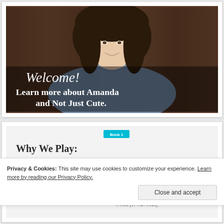[Figure (photo): Photo of Amanda (woman with long brown hair wearing a denim shirt) overlaid with white italic script 'Welcome!' and bold text 'Learn more about Amanda and Not Just Cute.' on a dark wooden background.]
[Figure (illustration): Book preview card showing 'Book 1' tag in teal and bold text 'Why We Play:' with a partial book cover visible.]
Privacy & Cookies: This site may use cookies to customize your experience. Learn more by reading our Privacy Policy.
Close and accept